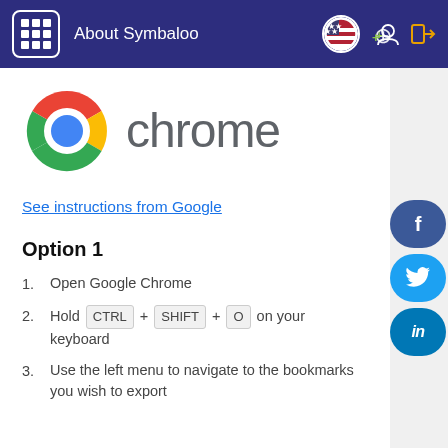About Symbaloo
[Figure (logo): Google Chrome logo with colorful circle and 'chrome' text in grey]
See instructions from Google
Option 1
1. Open Google Chrome
2. Hold CTRL + SHIFT + O on your keyboard
3. Use the left menu to navigate to the bookmarks you wish to export